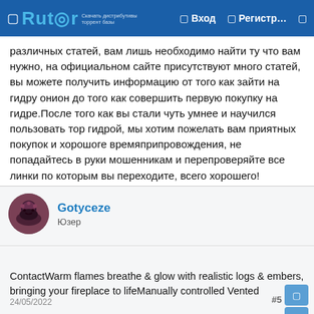Rutor | Вход | Регистр...
различных статей, вам лишь необходимо найти ту что вам нужно, на официальном сайте присутствуют много статей, вы можете получить информацию от того как зайти на гидру онион до того как совершить первую покупку на гидре.После того как вы стали чуть умнее и научился пользовать тор гидрой, мы хотим пожелать вам приятных покупок и хорошоге времяприпровождения, не попадайтесь в руки мошенникам и перепроверяйте все линки по которым вы переходите, всего хорошего!Теги:чёрный магазин, наркомаркет, официальные адреса омг, как зайти на онион гидру
Gotyceze
Юзер
24/05/2022
ContactWarm flames breathe & glow with realistic logs & embers, bringing your fireplace to lifeManually controlled Vented